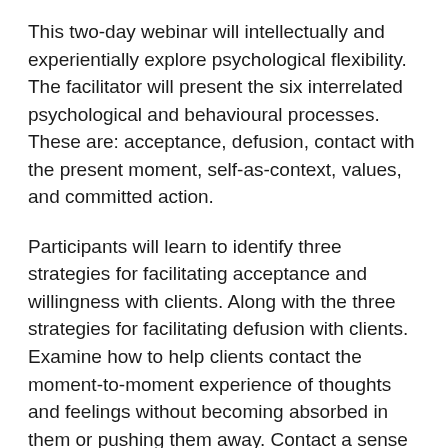This two-day webinar will intellectually and experientially explore psychological flexibility. The facilitator will present the six interrelated psychological and behavioural processes. These are: acceptance, defusion, contact with the present moment, self-as-context, values, and committed action.
Participants will learn to identify three strategies for facilitating acceptance and willingness with clients. Along with the three strategies for facilitating defusion with clients. Examine how to help clients contact the moment-to-moment experience of thoughts and feelings without becoming absorbed in them or pushing them away. Contact a sense of self that is more stable than transient thoughts and feelings. A sense of self that transcends personal narratives about who they are and what they are capable of. Understand how to facilitate conversations with clients about